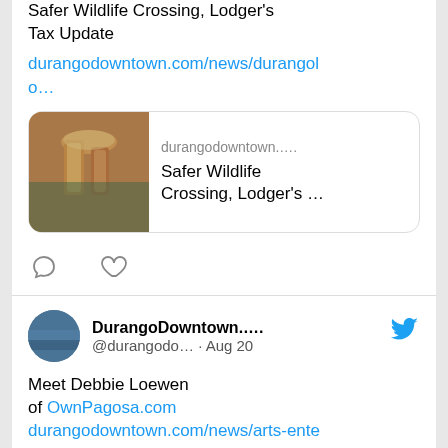Safer Wildlife Crossing, Lodger's Tax Update
durangodowntown.com/news/durangolo…
[Figure (screenshot): Link preview card showing beer glasses image with text: durangodowntown.... / Safer Wildlife Crossing, Lodger's ...]
[Figure (screenshot): Tweet action icons: comment bubble and heart]
DurangoDowntown.... @durangodo… · Aug 20
Meet Debbie Loewen of OwnPagosa.com durangodowntown.com/news/arts-ente…
[Figure (screenshot): Link preview card showing blonde woman photo with text: durangodowntown.... / Meet Debbie Loewen]